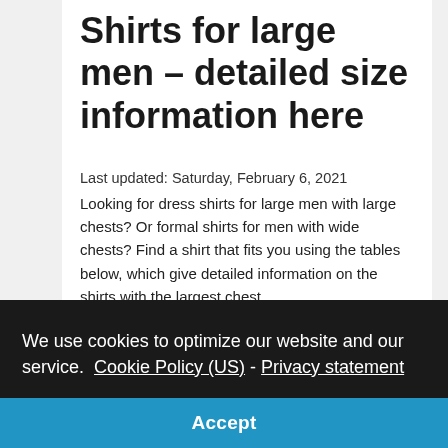Shirts for large men – detailed size information here
Last updated: Saturday, February 6, 2021
Looking for dress shirts for large men with large chests? Or formal shirts for men with wide chests? Find a shirt that fits you using the tables below, which give detailed information on the shirts with the largest chest
We use cookies to optimize our website and our service.  Cookie Policy (US) -  Privacy statement
Accept